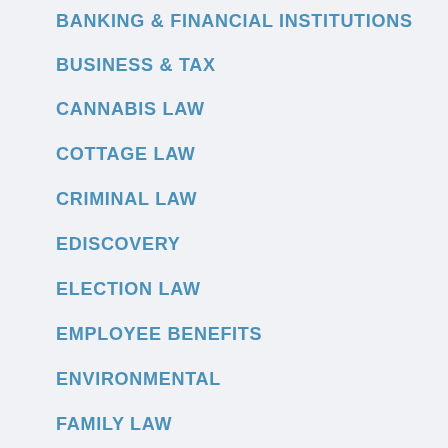BANKING & FINANCIAL INSTITUTIONS
BUSINESS & TAX
CANNABIS LAW
COTTAGE LAW
CRIMINAL LAW
EDISCOVERY
ELECTION LAW
EMPLOYEE BENEFITS
ENVIRONMENTAL
FAMILY LAW